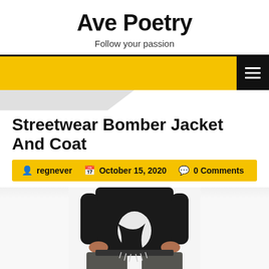Ave Poetry
Follow your passion
[Figure (screenshot): Yellow navigation bar with black hamburger menu icon on the right]
Streetwear Bomber Jacket And Coat
regnever   October 15, 2020   0 Comments
[Figure (photo): Person wearing a black bomber jacket open at the front, white shirt underneath, and dark grey wide-leg trousers, holding the jacket open]